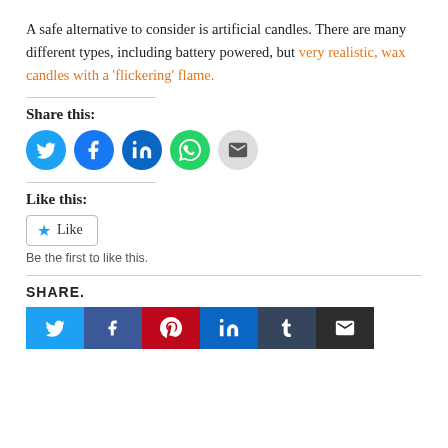A safe alternative to consider is artificial candles. There are many different types, including battery powered, but very realistic, wax candles with a 'flickering' flame.
Share this:
[Figure (infographic): Row of 5 social share icon circles: Twitter (blue), Facebook (blue), LinkedIn (dark blue), WhatsApp (green), Email (gray)]
Like this:
[Figure (infographic): Like button with star icon and text 'Like']
Be the first to like this.
SHARE.
[Figure (infographic): Row of 6 share button squares: Twitter (light blue), Facebook (dark blue), Pinterest (red), LinkedIn (blue), Tumblr (dark blue-gray), Email (dark gray)]